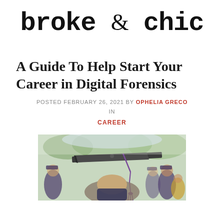broke & chic
A Guide To Help Start Your Career in Digital Forensics
POSTED FEBRUARY 26, 2021 BY OPHELIA GRECO IN
CAREER
[Figure (photo): A graduation cap with a purple tassel in the foreground, with blurred graduates in academic robes in the background.]